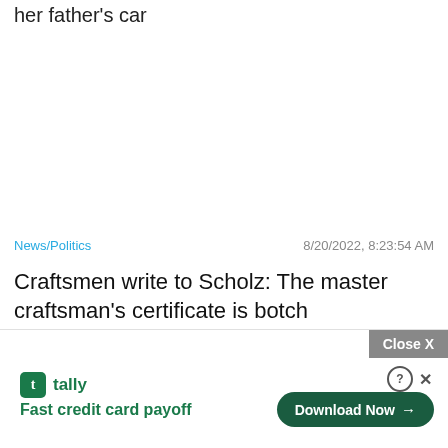her father's car
News/Politics
8/20/2022, 8:23:54 AM
Craftsmen write to Scholz: The master craftsman's certificate is botch
[Figure (screenshot): Advertisement banner for Tally app with 'Fast credit card payoff' tagline, a 'Download Now' button, a 'Close X' button, and help/close icons.]